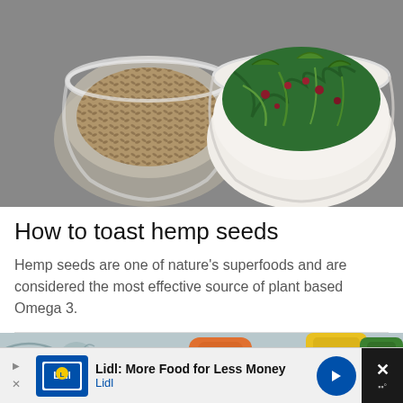[Figure (photo): A glass bowl filled with hemp seeds and a white ceramic bowl filled with green salad leaves and red berries, both placed on a gray surface.]
How to toast hemp seeds
Hemp seeds are one of nature’s superfoods and are considered the most effective source of plant based Omega 3.
[Figure (photo): Various food product packages on a patterned cloth, including orange mango pouches, red snack packets, a yellow Urban Fruit package, and a bag of seeds or grains.]
[Figure (screenshot): Advertisement banner: Lidl: More Food for Less Money - Lidl, with Lidl logo and blue arrow button.]